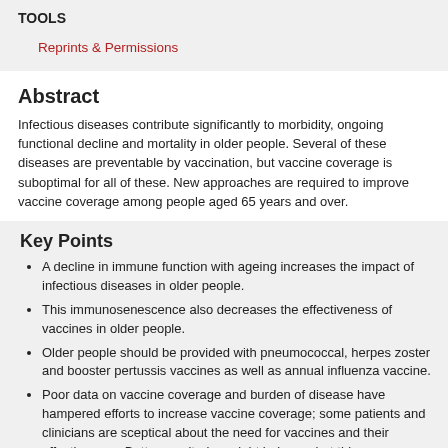TOOLS
Reprints & Permissions
Abstract
Infectious diseases contribute significantly to morbidity, ongoing functional decline and mortality in older people. Several of these diseases are preventable by vaccination, but vaccine coverage is suboptimal for all of these. New approaches are required to improve vaccine coverage among people aged 65 years and over.
Key Points
A decline in immune function with ageing increases the impact of infectious diseases in older people.
This immunosenescence also decreases the effectiveness of vaccines in older people.
Older people should be provided with pneumococcal, herpes zoster and booster pertussis vaccines as well as annual influenza vaccine.
Poor data on vaccine coverage and burden of disease have hampered efforts to increase vaccine coverage; some patients and clinicians are sceptical about the need for vaccines and their effectiveness. Better monitoring might help combat this.